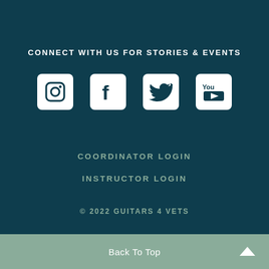CONNECT WITH US FOR STORIES & EVENTS
[Figure (infographic): Row of four social media icons: Instagram, Facebook, Twitter, YouTube rendered as white icons on white rounded-square backgrounds against dark teal background]
COORDINATOR LOGIN
INSTRUCTOR LOGIN
© 2022 GUITARS 4 VETS
Back To Top